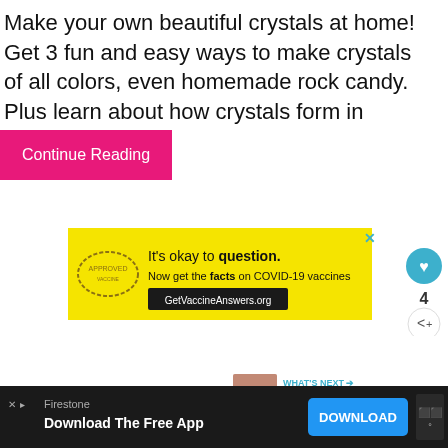Make your own beautiful crystals at home! Get 3 fun and easy ways to make crystals of all colors, even homemade rock candy. Plus learn about how crystals form in nature.
Continue Reading
[Figure (screenshot): Yellow advertisement banner: 'It's okay to question. Now get the facts on COVID-19 vaccines – GetVaccineAnswers.org' with a stamp graphic on the left and a close button (X) on the upper right.]
[Figure (infographic): Sidebar with a teal heart icon (like count: 4) and a share icon button.]
[Figure (infographic): WHAT'S NEXT arrow label with a thumbnail and text 'Toddler STEM Activities -...']
[Figure (screenshot): Bottom black advertisement bar: Firestone – Download The Free App – DOWNLOAD button – logo icon]